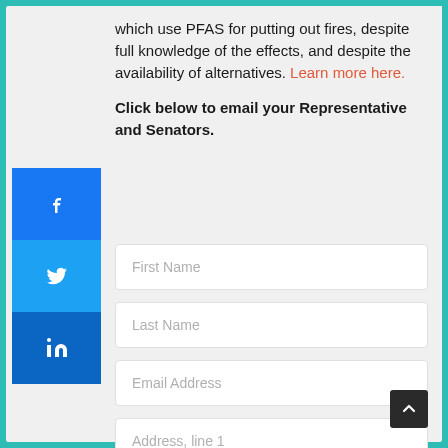which use PFAS for putting out fires, despite full knowledge of the effects, and despite the availability of alternatives. Learn more here.
Click below to email your Representative and Senators.
[Figure (infographic): Social media sharing buttons: Facebook (blue), Twitter (light blue), LinkedIn (dark blue) stacked vertically on left sidebar]
First Name
Last Name
Email Address
Address, line 1